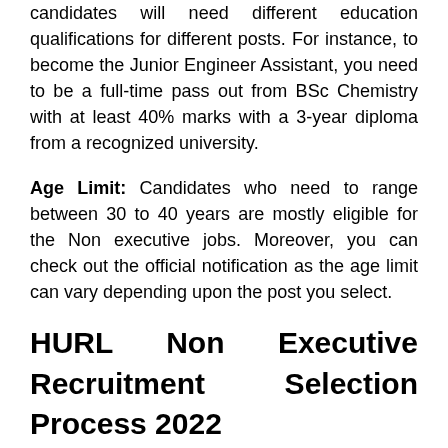candidates will need different education qualifications for different posts. For instance, to become the Junior Engineer Assistant, you need to be a full-time pass out from BSc Chemistry with at least 40% marks with a 3-year diploma from a recognized university.
Age Limit: Candidates who need to range between 30 to 40 years are mostly eligible for the Non executive jobs. Moreover, you can check out the official notification as the age limit can vary depending upon the post you select.
HURL Non Executive Recruitment Selection Process 2022